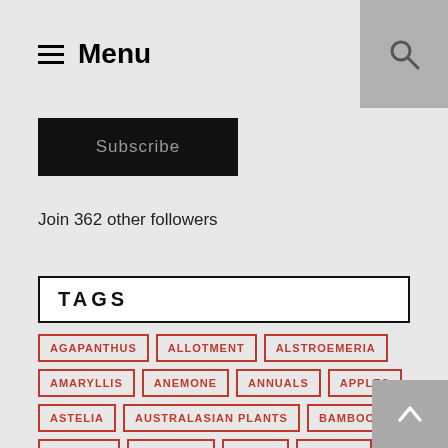Menu
Subscribe
Join 362 other followers
TAGS
AGAPANTHUS
ALLOTMENT
ALSTROEMERIA
AMARYLLIS
ANEMONE
ANNUALS
APPLES
ASTELIA
AUSTRALASIAN PLANTS
BAMBOO
BEGONIA
BOMAREA
BULBS
CACTUS
CAMELLIAS
CHRYSANTHEMUM
CONIFERS
CORYDALIS
CROCUS
CYCLAMEN